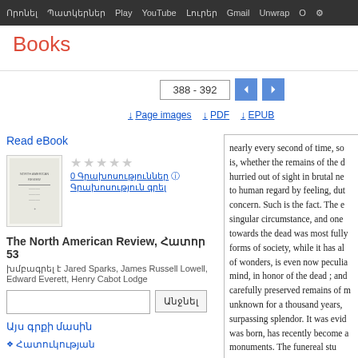Որոնել Պատկերներ Play YouTube Լուրեր Gmail Unwrap Options
Books
388 - 392
Page images  PDF  EPUB
Read eBook
[Figure (illustration): Thumbnail cover of The North American Review book]
0 Գրախոսություններ
Գրախոսություն գրել
The North American Review, Հատոր 53
խմբագրել է Jared Sparks, James Russell Lowell, Edward Everett, Henry Cabot Lodge
Այս գրքի մասին
Հատուկության
nearly every second of time, so is, whether the remains of the d hurried out of sight in brutal ne to human regard by feeling, dut concern. Such is the fact. The e singular circumstance, and one towards the dead was most fully forms of society, while it has al of wonders, is even now peculia mind, in honor of the dead ; and carefully preserved remains of m unknown for a thousand years, surpassing splendor. It was evid was born, has recently become a monuments. The funereal stu